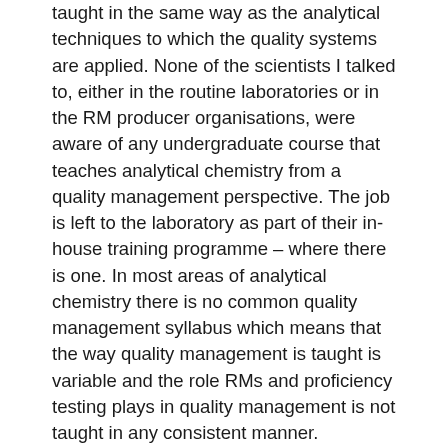taught in the same way as the analytical techniques to which the quality systems are applied. None of the scientists I talked to, either in the routine laboratories or in the RM producer organisations, were aware of any undergraduate course that teaches analytical chemistry from a quality management perspective. The job is left to the laboratory as part of their in-house training programme – where there is one. In most areas of analytical chemistry there is no common quality management syllabus which means that the way quality management is taught is variable and the role RMs and proficiency testing plays in quality management is not taught in any consistent manner.
How can this lack of education be changed? The answer is simple: money has to be spent on both training and the coordination of training. Within the reference materials and quality management